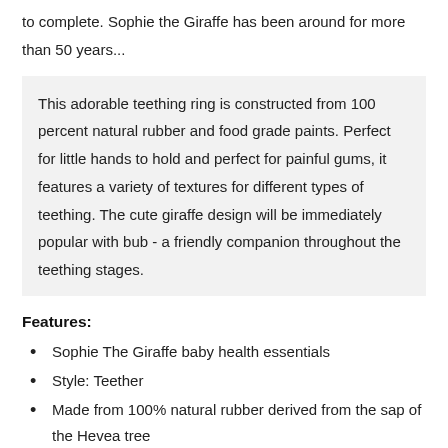to complete. Sophie the Giraffe has been around for more than 50 years...
This adorable teething ring is constructed from 100 percent natural rubber and food grade paints. Perfect for little hands to hold and perfect for painful gums, it features a variety of textures for different types of teething. The cute giraffe design will be immediately popular with bub - a friendly companion throughout the teething stages.
Features:
Sophie The Giraffe baby health essentials
Style: Teether
Made from 100% natural rubber derived from the sap of the Hevea tree
Natural Rubber is soft, safe & non-toxic for baby to